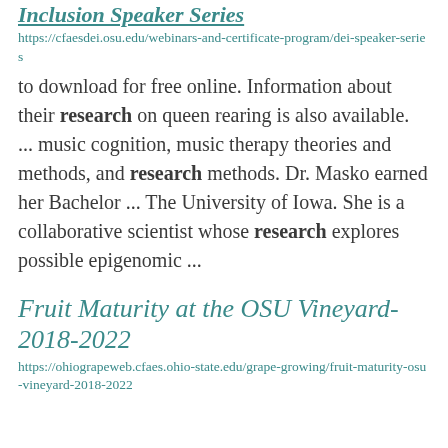Inclusion Speaker Series
https://cfaesdei.osu.edu/webinars-and-certificate-program/dei-speaker-series
to download for free online. Information about their research on queen rearing is also available.  ... music cognition, music therapy theories and methods, and research methods. Dr. Masko earned her Bachelor ... The University of Iowa. She is a collaborative scientist whose research explores possible epigenomic ...
Fruit Maturity at the OSU Vineyard- 2018-2022
https://ohiograpeweb.cfaes.ohio-state.edu/grape-growing/fruit-maturity-osu-vineyard-2018-2022